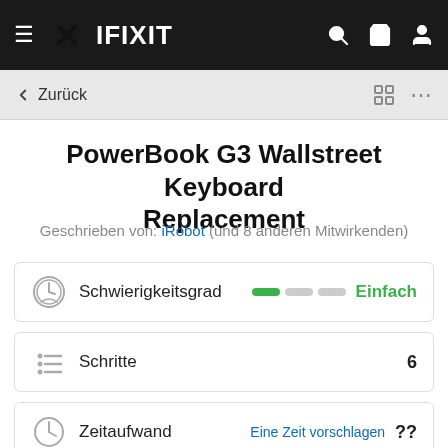IFIXIT
← Zurück
PowerBook G3 Wallstreet Keyboard Replacement
Geschrieben von: iRobot (und 8 anderen Mitwirkenden)
Schwierigkeitsgrad  Einfach
Schritte  6
Zeitaufwand  Eine Zeit vorschlagen  ??